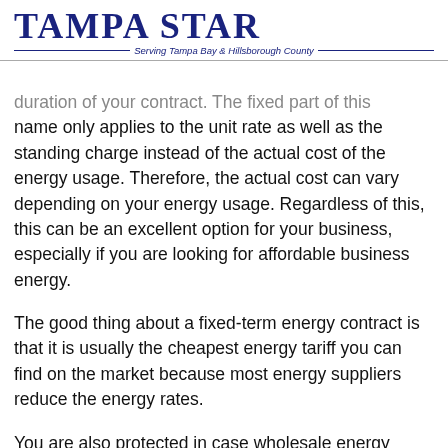TAMPA STAR — Serving Tampa Bay & Hillsborough County
duration of your contract. The fixed part of this name only applies to the unit rate as well as the standing charge instead of the actual cost of the energy usage. Therefore, the actual cost can vary depending on your energy usage. Regardless of this, this can be an excellent option for your business, especially if you are looking for affordable business energy.
The good thing about a fixed-term energy contract is that it is usually the cheapest energy tariff you can find on the market because most energy suppliers reduce the energy rates.
You are also protected in case wholesale energy prices increase. As a business owner, you need to opt for a fixed unit rate and standing charge